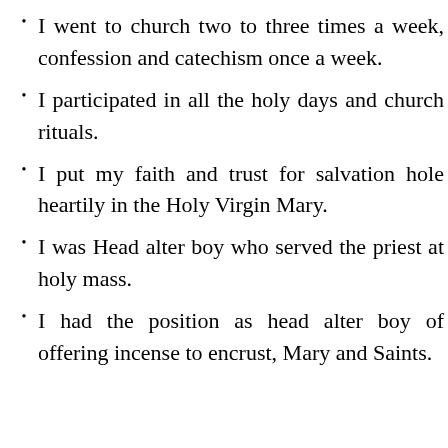I went to church two to three times a week, confession and catechism once a week.
I participated in all the holy days and church rituals.
I put my faith and trust for salvation hole heartily in the Holy Virgin Mary.
I was Head alter boy who served the priest at holy mass.
I had the position as head alter boy of offering incense to encrust, Mary and Saints.